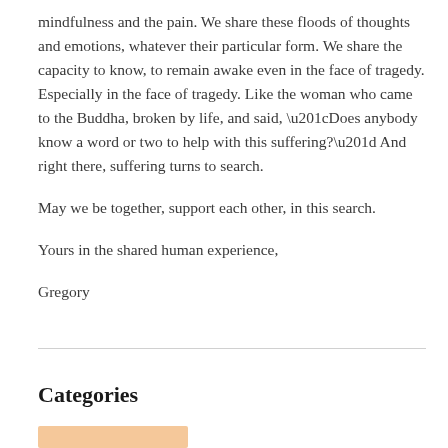mindfulness and the pain. We share these floods of thoughts and emotions, whatever their particular form. We share the capacity to know, to remain awake even in the face of tragedy. Especially in the face of tragedy. Like the woman who came to the Buddha, broken by life, and said, “Does anybody know a word or two to help with this suffering?” And right there, suffering turns to search.
May we be together, support each other, in this search.
Yours in the shared human experience,
Gregory
Categories